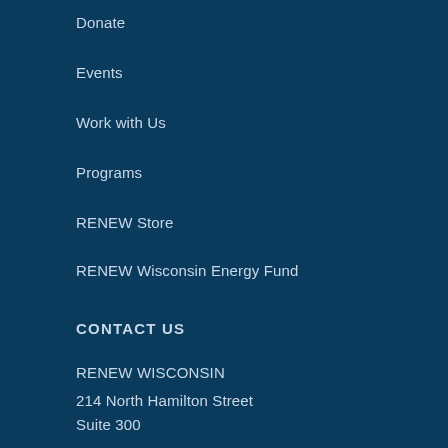Donate
Events
Work with Us
Programs
RENEW Store
RENEW Wisconsin Energy Fund
CONTACT US
RENEW WISCONSIN
214 North Hamilton Street
Suite 300
Madison, WI 53703
608.255.4044